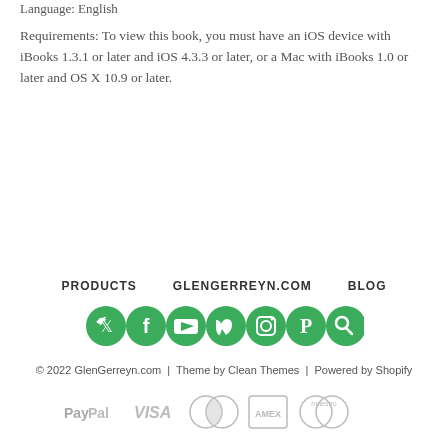Language: English
Requirements: To view this book, you must have an iOS device with iBooks 1.3.1 or later and iOS 4.3.3 or later, or a Mac with iBooks 1.0 or later and OS X 10.9 or later.
PRODUCTS   GLENGERREYN.COM   BLOG
[Figure (infographic): Row of 7 green circular social media icons: Twitter, Facebook, YouTube, Vimeo, Instagram, Pinterest, Search]
© 2022 GlenGerreyn.com  |  Theme by Clean Themes  |  Powered by Shopify
[Figure (infographic): Payment method icons: PayPal, VISA, MasterCard, American Express, Maestro — all in grey]